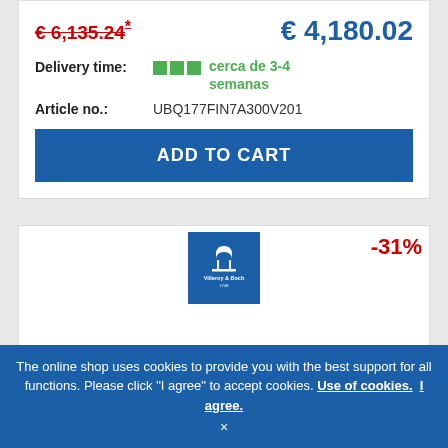€ 6,135.24*
€ 4,180.02
Delivery time: cerca de 3-4 semanas
Article no.: UBQ177FIN7A300V201
ADD TO CART
[Figure (logo): Villeroy & Boch logo on dark blue square background]
-31%
xTWO
The online shop uses cookies to provide you with the best support for all functions. Please click "I agree" to accept cookies. Use of cookies. I agree.
×